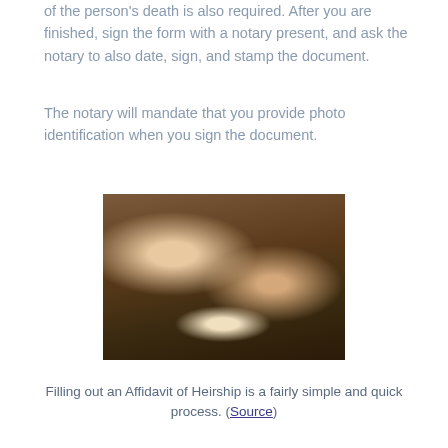of the person's death is also required. After you are finished, sign the form with a notary present, and ask the notary to also date, sign, and stamp the document.
The notary will mandate that you provide photo identification when you sign the document.
[Figure (photo): Elderly hands signing a document with a pen, wedding ring visible on right hand]
Filling out an Affidavit of Heirship is a fairly simple and quick process. (Source)